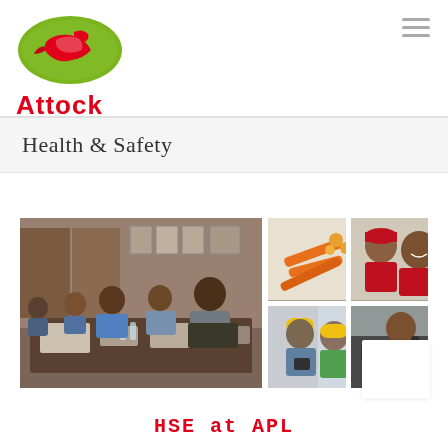[Figure (logo): Attock Petroleum Limited logo — green oval with red stylized eagle/bird, with 'Attock' text in bold red below]
Health & Safety
[Figure (photo): Collage of four images: large left image shows a group of men in a training/meeting room setting; top-right shows tools/items on a surface; middle-right shows two employees in red uniforms; bottom-right shows workers in hard hats; far-right shows a person working on a vehicle.]
HSE at APL